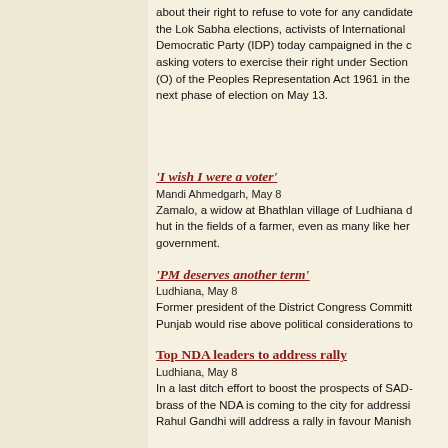about their right to refuse to vote for any candidate in the Lok Sabha elections, activists of International Democratic Party (IDP) today campaigned in the c asking voters to exercise their right under Section (O) of the Peoples Representation Act 1961 in the next phase of election on May 13.
‘I wish I were a voter’
Mandi Ahmedgarh, May 8
Zamalo, a widow at Bhathlan village of Ludhiana d hut in the fields of a farmer, even as many like her government.
‘PM deserves another term’
Ludhiana, May 8
Former president of the District Congress Committ Punjab would rise above political considerations to
Top NDA leaders to address rally
Ludhiana, May 8
In a last ditch effort to boost the prospects of SAD- brass of the NDA is coming to the city for addressi Rahul Gandhi will address a rally in favour Manish
Dental college authorities accused of in
Ludhiana, May 8